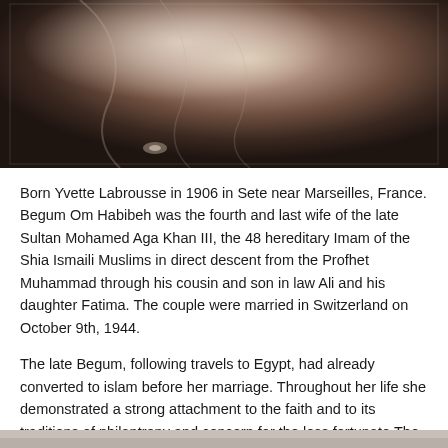[Figure (photo): Sepia-toned photograph of a woman, cropped showing torso/hands area with draped fabric and jewelry visible]
Born Yvette Labrousse in 1906 in Sete near Marseilles, France. Begum Om Habibeh was the fourth and last wife of the late Sultan Mohamed Aga Khan III, the 48 hereditary Imam of the Shia Ismaili Muslims in direct descent from the Profhet Muhammad through his cousin and son in law Ali and his daughter Fatima. The couple were married in Switzerland on October 9th, 1944.
The late Begum, following travels to Egypt, had already converted to islam before her marriage. Throughout her life she demonstrated a strong attachment to the faith and to its traditions of philantropy and concern for the less fortunate.The Begum took a particular interestin issues affecting woman and children's welfare.
[Figure (photo): Bottom portion of another photograph, partially visible]